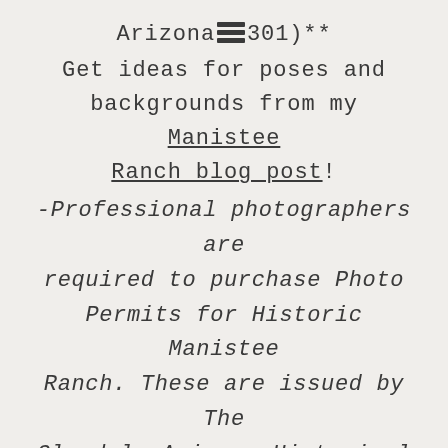Arizona (85301)**
Get ideas for poses and backgrounds from my Manistee Ranch blog post!
-Professional photographers are required to purchase Photo Permits for Historic Manistee Ranch. These are issued by The Glendale Arizona Historical Society – $25 for one day, or $100 for a season. Call the society at 623-435-0072 to